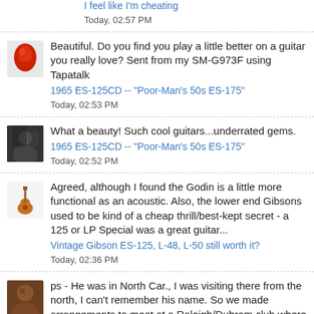I feel like I'm cheating
Today, 02:57 PM
Beautiful. Do you find you play a little better on a guitar you really love? Sent from my SM-G973F using Tapatalk
1965 ES-125CD -- "Poor-Man's 50s ES-175"
Today, 02:53 PM
What a beauty! Such cool guitars...underrated gems.
1965 ES-125CD -- "Poor-Man's 50s ES-175"
Today, 02:52 PM
Agreed, although I found the Godin is a little more functional as an acoustic. Also, the lower end Gibsons used to be kind of a cheap thrill/best-kept secret - a 125 or LP Special was a great guitar...
Vintage Gibson ES-125, L-48, L-50 still worth it?
Today, 02:36 PM
ps - He was in North Car., I was visiting there from the north, I can't remember his name. So we made arrangements to meet at a Raleigh/Duhram club where he